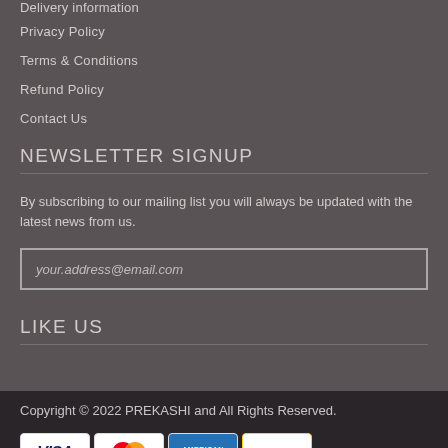Delivery Information
Privacy Policy
Terms & Conditions
Refund Policy
Contact Us
NEWSLETTER SIGNUP
By subscribing to our mailing list you will always be updated with the latest news from us.
your.address@email.com
LIKE US
Copyright © 2022 PREKASHI and All Rights Reserved.
[Figure (other): Payment method icons: VISA, MasterCard, American Express, PayPal]